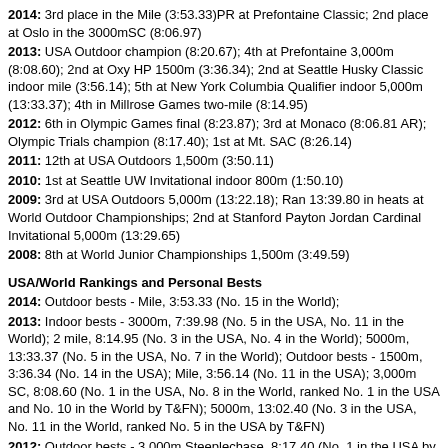2014: 3rd place in the Mile (3:53.33)PR at Prefontaine Classic; 2nd place at Oslo in the 3000mSC (8:06.97)
2013: USA Outdoor champion (8:20.67); 4th at Prefontaine 3,000m (8:08.60); 2nd at Oxy HP 1500m (3:36.34); 2nd at Seattle Husky Classic indoor mile (3:56.14); 5th at New York Columbia Qualifier indoor 5,000m (13:33.37); 4th in Millrose Games two-mile (8:14.95)
2012: 6th in Olympic Games final (8:23.87); 3rd at Monaco (8:06.81 AR); Olympic Trials champion (8:17.40); 1st at Mt. SAC (8:26.14)
2011: 12th at USA Outdoors 1,500m (3:50.11)
2010: 1st at Seattle UW Invitational indoor 800m (1:50.10)
2009: 3rd at USA Outdoors 5,000m (13:22.18); Ran 13:39.80 in heats at World Outdoor Championships; 2nd at Stanford Payton Jordan Cardinal Invitational 5,000m (13:29.65)
2008: 8th at World Junior Championships 1,500m (3:49.59)
USA/World Rankings and Personal Bests
2014: Outdoor bests - Mile, 3:53.33 (No. 15 in the World);
2013: Indoor bests - 3000m, 7:39.98 (No. 5 in the USA, No. 11 in the World); 2 mile, 8:14.95 (No. 3 in the USA, No. 4 in the World); 5000m, 13:33.37 (No. 5 in the USA, No. 7 in the World); Outdoor bests - 1500m, 3:36.34 (No. 14 in the USA); Mile, 3:56.14 (No. 11 in the USA); 3,000m SC, 8:08.60 (No. 1 in the USA, No. 8 in the World, ranked No. 1 in the USA and No. 10 in the World by T&FN); 5000m, 13:02.40 (No. 3 in the USA, No. 11 in the World, ranked No. 5 in the USA by T&FN)
2012: Outdoor bests - 3,000m Steeplechase, 8:17.40 (No. 1 in the USA by T&FN, No. 19 in the world, ranked No. 10 in the world by T&FN)
2011: Outdoor bests - 1,500m, 3:38.80
2010: Outdoor bests - 1,500m, 3:38.53
2009: Outdoor bests - 1,500m (3:38.33) (ranked No. 7 in the USA by T&FN); 5,000m, 13:22.18 (ranked No. 5 in the USA by T&FN)